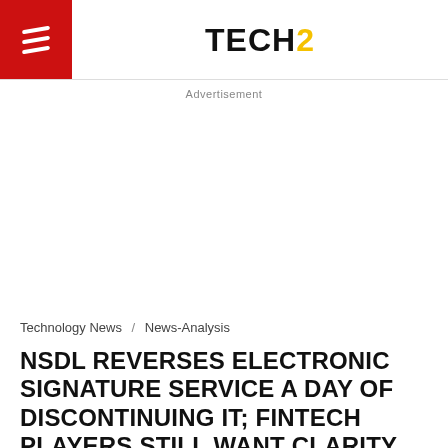TECH2
Advertisement
Technology News / News-Analysis
NSDL REVERSES ELECTRONIC SIGNATURE SERVICE A DAY OF DISCONTINUING IT; FINTECH PLAYERS STILL WANT CLARITY ON AADHAAR BASED EKYC